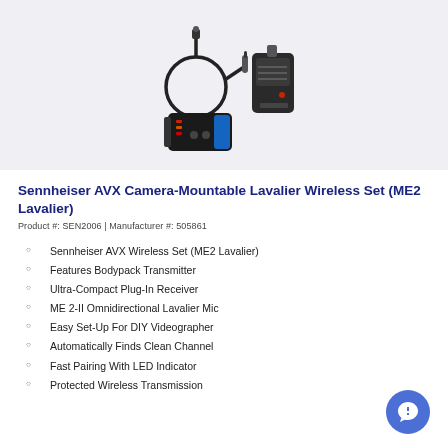[Figure (photo): Product photo of Sennheiser AVX wireless set showing a lavalier microphone with cable, a plug-in receiver, and a bodypack transmitter against a light gray background.]
Sennheiser AVX Camera-Mountable Lavalier Wireless Set (ME2 Lavalier)
Product #: SEN2006 | Manufacturer #: 505861
Sennheiser AVX Wireless Set (ME2 Lavalier)
Features Bodypack Transmitter
Ultra-Compact Plug-In Receiver
ME 2-II Omnidirectional Lavalier Mic
Easy Set-Up For DIY Videographer
Automatically Finds Clean Channel
Fast Pairing With LED Indicator
Protected Wireless Transmission